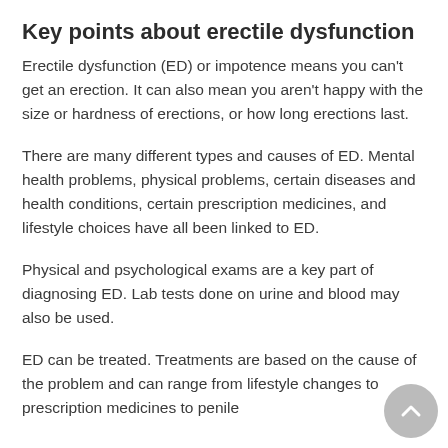Key points about erectile dysfunction
Erectile dysfunction (ED) or impotence means you can’t get an erection. It can also mean you aren't happy with the size or hardness of erections, or how long erections last.
There are many different types and causes of ED. Mental health problems, physical problems, certain diseases and health conditions, certain prescription medicines, and lifestyle choices have all been linked to ED.
Physical and psychological exams are a key part of diagnosing ED. Lab tests done on urine and blood may also be used.
ED can be treated. Treatments are based on the cause of the problem and can range from lifestyle changes to prescription medicines to penile